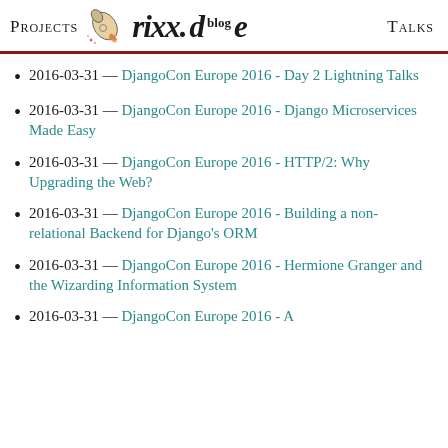Projects  rixx.blog  Talks
2016-03-31 — DjangoCon Europe 2016 - Day 2 Lightning Talks
2016-03-31 — DjangoCon Europe 2016 - Django Microservices Made Easy
2016-03-31 — DjangoCon Europe 2016 - HTTP/2: Why Upgrading the Web?
2016-03-31 — DjangoCon Europe 2016 - Building a non-relational Backend for Django's ORM
2016-03-31 — DjangoCon Europe 2016 - Hermione Granger and the Wizarding Information System
2016-03-31 — DjangoCon Europe 2016 - A…